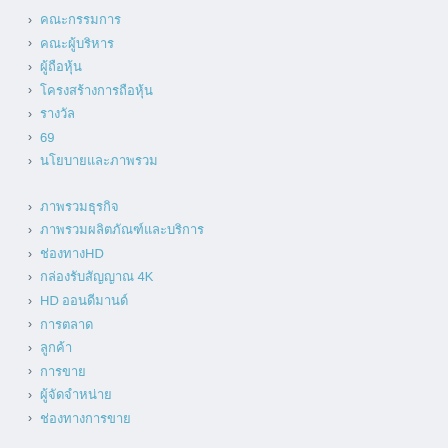▶ คณะกรรมการ
▶ คณะผู้บริหาร
▶ ผู้ถือหุ้น
▶ โครงสร้างการถือหุ้น
▶ รางวัล
▶ 69
▶ นโยบายและภาพรวม
▶ ภาพรวมธุรกิจ
▶ ภาพรวมผลิตภัณฑ์และบริการ
▶ ช่องทางHD
▶ กล่องรับสัญญาณ 4K
▶ HD ออนดีมานด์
▶ การตลาด
▶ ลูกค้า
▶ การขาย
▶ ผู้จัดจำหน่าย
▶ ช่องทางการขาย